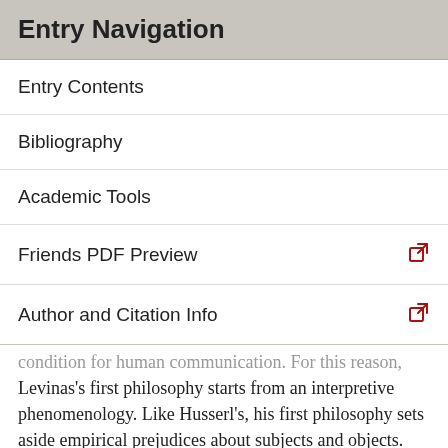Entry Navigation
Entry Contents
Bibliography
Academic Tools
Friends PDF Preview
Author and Citation Info
condition for human communication. For this reason, Levinas's first philosophy starts from an interpretive phenomenology. Like Husserl's, his first philosophy sets aside empirical prejudices about subjects and objects. Like Husserl's phenomenology, it strips away accumulated layers of conceptualization, in order to reveal experience as it comes to light. For Levinas, intersubjective experience, as it comes to light, proves ‘ethical’ in the simple sense that an ‘I’ discovers its own particularity when it is singled out by the gaze of the other. This gaze is interrogative and imperative. It says “do not kill me.” It also implores the ‘I’, who eludes it